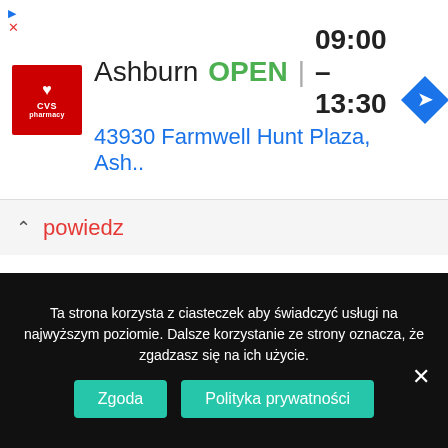[Figure (screenshot): CVS Pharmacy ad banner showing Ashburn location, OPEN 09:00–13:30, address 43930 Farmwell Hunt Plaza, Ash..]
powiedz
25 mg sildenafil
pisze:
22 maja 2021 o 08:04
I love looking through an article that will make men and women think.
Ta strona korzysta z ciasteczek aby świadczyć usługi na najwyższym poziomie. Dalsze korzystanie ze strony oznacza, że zgadzasz się na ich użycie.